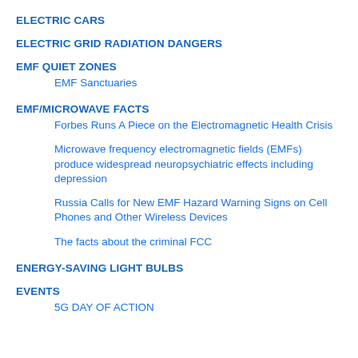ELECTRIC CARS
ELECTRIC GRID RADIATION DANGERS
EMF QUIET ZONES
EMF Sanctuaries
EMF/MICROWAVE FACTS
Forbes Runs A Piece on the Electromagnetic Health Crisis
Microwave frequency electromagnetic fields (EMFs) produce widespread neuropsychiatric effects including depression
Russia Calls for New EMF Hazard Warning Signs on Cell Phones and Other Wireless Devices
The facts about the criminal FCC
ENERGY-SAVING LIGHT BULBS
EVENTS
5G DAY OF ACTION